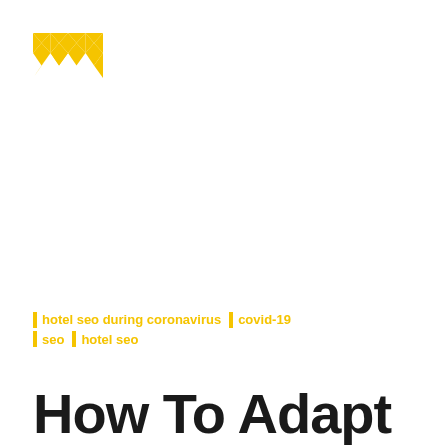[Figure (logo): Yellow geometric logo made of triangular shapes forming an M-like butterfly symbol]
| hotel seo during coronavirus   | covid-19
| seo      | hotel seo
How To Adapt Your Hotel